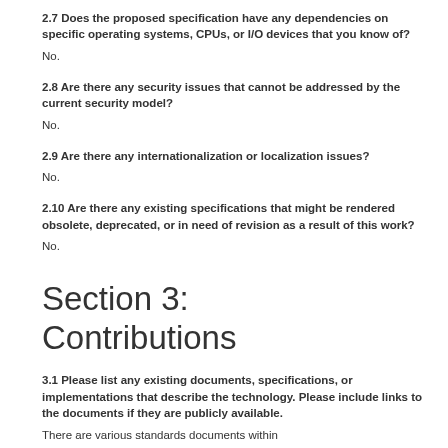javax.industry.travel.common.*
javax.industry.travel.reservation.*
2.7 Does the proposed specification have any dependencies on specific operating systems, CPUs, or I/O devices that you know of?
No.
2.8 Are there any security issues that cannot be addressed by the current security model?
No.
2.9 Are there any internationalization or localization issues?
No.
2.10 Are there any existing specifications that might be rendered obsolete, deprecated, or in need of revision as a result of this work?
No.
Section 3:
Contributions
3.1 Please list any existing documents, specifications, or implementations that describe the technology. Please include links to the documents if they are publicly available.
There are various standards documents within